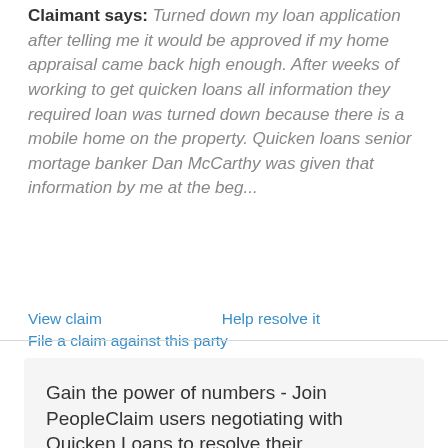Claimant says: Turned down my loan application after telling me it would be approved if my home appraisal came back high enough. After weeks of working to get quicken loans all information they required loan was turned down because there is a mobile home on the property. Quicken loans senior mortage banker Dan McCarthy was given that information by me at the beg...
View claim | Help resolve it | File a claim against this party
Gain the power of numbers - Join PeopleClaim users negotiating with Quicken Loans to resolve their complaints.
Resolve My Complaint